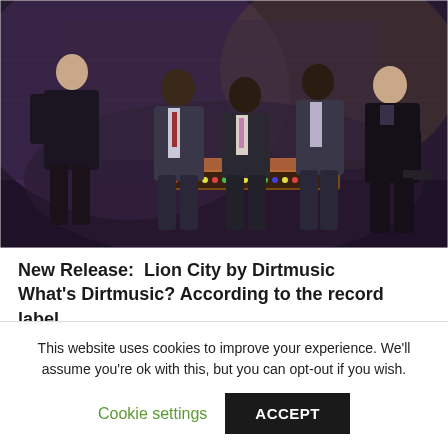[Figure (photo): Five men seated in a dimly lit outdoor/industrial setting. One white man on the far left, three Black men in the center and center-right area, and one white man on the far right. They appear to be musicians posed for a press photo. The setting has a dark, moody atmosphere with muted purple and gold tones.]
New Release:  Lion City by Dirtmusic
What's Dirtmusic? According to the record label,
This website uses cookies to improve your experience. We'll assume you're ok with this, but you can opt-out if you wish.
Cookie settings
ACCEPT